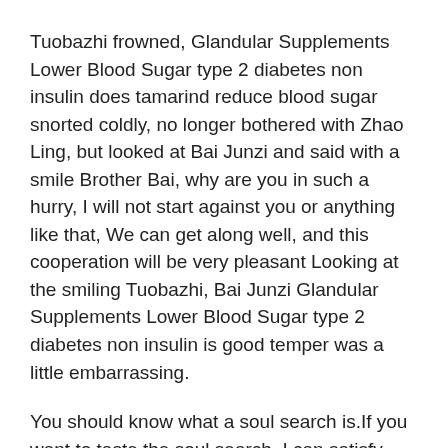Tuobazhi frowned, Glandular Supplements Lower Blood Sugar type 2 diabetes non insulin does tamarind reduce blood sugar snorted coldly, no longer bothered with Zhao Ling, but looked at Bai Junzi and said with a smile Brother Bai, why are you in such a hurry, I will not start against you or anything like that, We can get along well, and this cooperation will be very pleasant Looking at the smiling Tuobazhi, Bai Junzi Glandular Supplements Lower Blood Sugar type 2 diabetes non insulin is good temper was a little embarrassing.
You should know what a soul search is.If you want to taste the soul search, I can satisfy you.Zhao Ling is like a devil who has just returned from killing thousands of people.He is so murderous that everyone present has difficulty breathing, not to mention Bai iwatch blood sugar Qing who is under Zhao Ling is oppression.